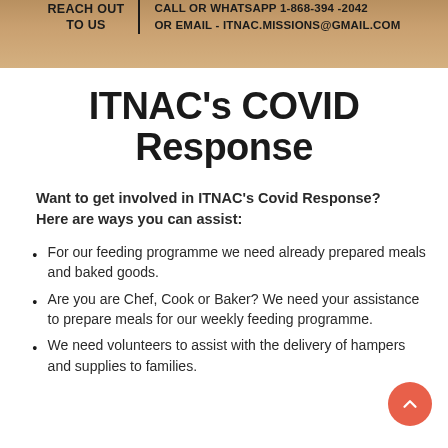[Figure (infographic): Banner with beige/tan background showing contact information: REACH OUT TO US | CALL OR WHATSAPP 1-868-394-2042 OR EMAIL - ITNAC.MISSIONS@GMAIL.COM]
ITNAC's COVID Response
Want to get involved in ITNAC's Covid Response? Here are ways you can assist:
For our feeding programme we need already prepared meals and baked goods.
Are you are Chef, Cook or Baker? We need your assistance to prepare meals for our weekly feeding programme.
We need volunteers to assist with the delivery of hampers and supplies to families.